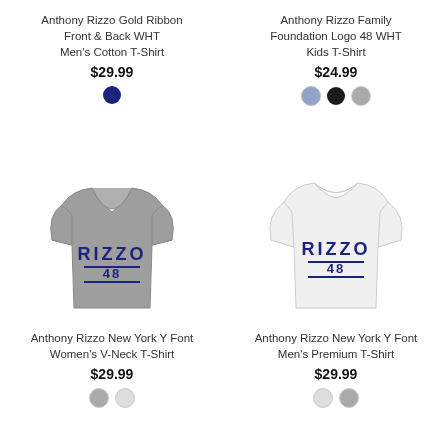Anthony Rizzo Gold Ribbon Front & Back WHT Men's Cotton T-Shirt
$29.99
Anthony Rizzo Family Foundation Logo 48 WHT Kids T-Shirt
$24.99
[Figure (photo): Gray women's v-neck t-shirt with RIZZO 48 text graphic]
[Figure (photo): White men's t-shirt with RIZZO 48 text graphic]
Anthony Rizzo New York Y Font Women's V-Neck T-Shirt
$29.99
Anthony Rizzo New York Y Font Men's Premium T-Shirt
$29.99